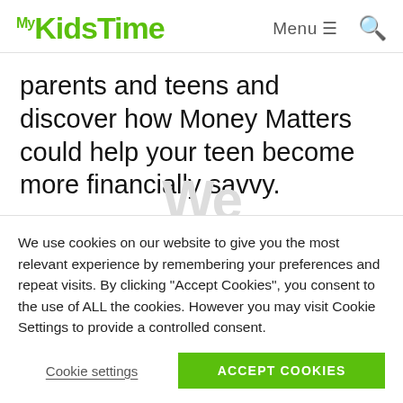[Figure (logo): MyKidsTime logo in green text]
parents and teens and discover how Money Matters could help your teen become more financially savvy.
YOU MAY ALSO ENJOY: Why You...
We use cookies on our website to give you the most relevant experience by remembering your preferences and repeat visits. By clicking “Accept Cookies”, you consent to the use of ALL the cookies. However you may visit Cookie Settings to provide a controlled consent.